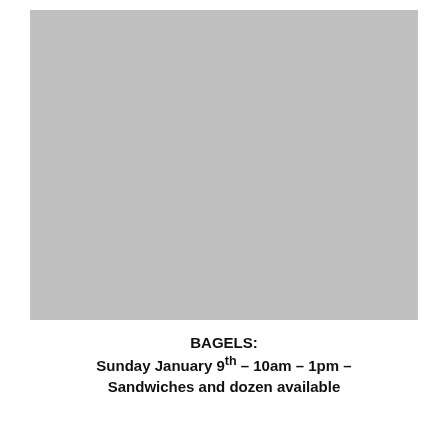[Figure (photo): Large gray placeholder image area]
BAGELS: Sunday January 9th – 10am – 1pm – Sandwiches and dozen available